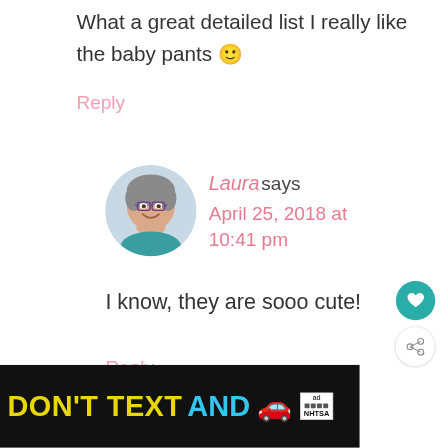What a great detailed list I really like the baby pants 🙂
Reply
[Figure (photo): Circular avatar photo of Laura, a woman with short gray hair and glasses, wearing a teal top, smiling]
Laura says
April 25, 2018 at 10:41 pm
I know, they are sooo cute!
Reply
[Figure (other): DON'T TEXT AND [car emoji] advertisement banner with NHTSA logo]